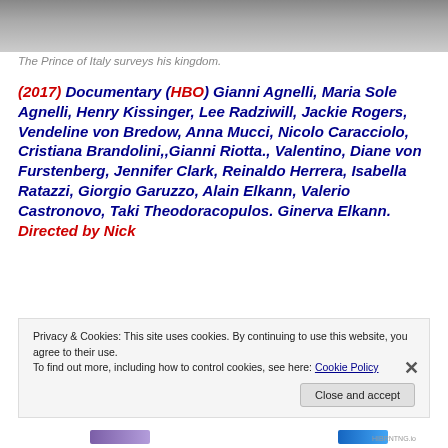[Figure (photo): Partial photo of a man in a suit, cropped at top of page, gray/stone background]
The Prince of Italy surveys his kingdom.
(2017) Documentary (HBO) Gianni Agnelli, Maria Sole Agnelli, Henry Kissinger, Lee Radziwill, Jackie Rogers, Vendeline von Bredow, Anna Mucci, Nicolo Caracciolo, Cristiana Brandolini,,Gianni Riotta., Valentino, Diane von Furstenberg, Jennifer Clark, Reinaldo Herrera, Isabella Ratazzi, Giorgio Garuzzo, Alain Elkann, Valerio Castronovo, Taki Theodoracopulos. Ginerva Elkann. Directed by Nick
Privacy & Cookies: This site uses cookies. By continuing to use this website, you agree to their use. To find out more, including how to control cookies, see here: Cookie Policy
Close and accept